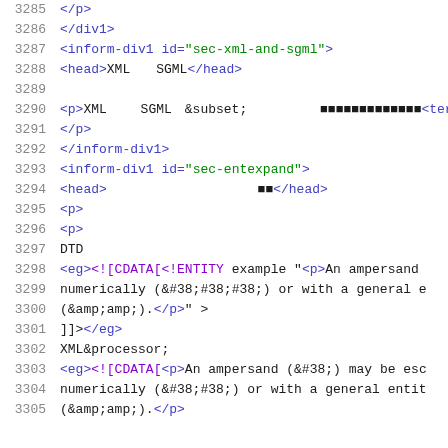3285   </p>
3286   </div1>
3287   <inform-div1 id="sec-xml-and-sgml">
3288   <head>XML  SGML</head>
3289
3290   <p>XML  SGML &subset;                <termr
3291   </p>
3292   </inform-div1>
3293   <inform-div1 id="sec-entexpand">
3294   <head>            ■■</head>
3295   <p>                                  ■■</p>
3296   <p>
3297   DTD               
3298   <eg><!CDATA[<!ENTITY example "<p>An ampersand
3299   numerically (&#38;#38;#38;) or with a general e
3300   (&amp;amp;).</p>" >
3301   ]]></eg>
3302   XML&processor;                            
3303   <eg><!CDATA[<p>An ampersand (&#38;) may be esc
3304   numerically (&#38;#38;) or with a general entit
3305   (&amp;amp;).</p>